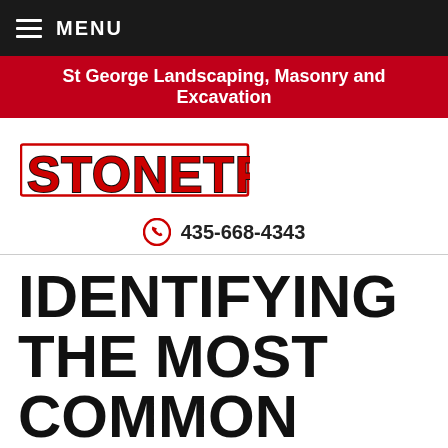MENU
St George Landscaping, Masonry and Excavation
[Figure (logo): STONETREE logo in bold red block letters with black outline]
435-668-4343
IDENTIFYING THE MOST COMMON TYPES OF CACTUS IN SOUTHERN